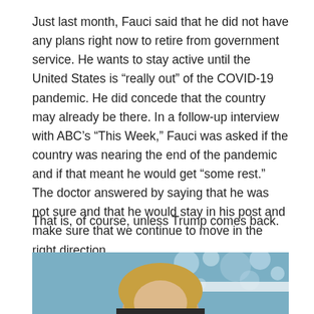Just last month, Fauci said that he did not have any plans right now to retire from government service. He wants to stay active until the United States is “really out” of the COVID-19 pandemic. He did concede that the country may already be there. In a follow-up interview with ABC’s “This Week,” Fauci was asked if the country was nearing the end of the pandemic and if that meant he would get “some rest.” The doctor answered by saying that he was not sure and that he would stay in his post and make sure that we continue to move in the right direction.
That is, of course, unless Trump comes back.
[Figure (photo): Partial photo showing a woman with blonde hair in front of a light blue background with decorative circles]